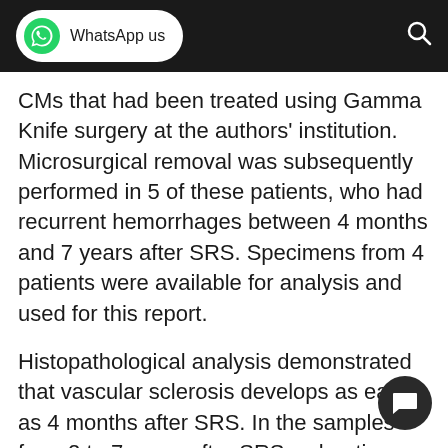WhatsApp us
CMs that had been treated using Gamma Knife surgery at the authors' institution. Microsurgical removal was subsequently performed in 5 of these patients, who had recurrent hemorrhages between 4 months and 7 years after SRS. Specimens from 4 patients were available for analysis and used for this report.
Histopathological analysis demonstrated that vascular sclerosis develops as early as 4 months after SRS. In the samples from 2 to 7 years after SRS, sclerotic vessels were prominent, but there were also vessels with incomplete sclerosis as well as some foci of neovascularization.